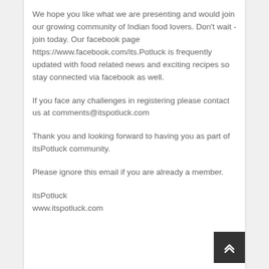We hope you like what we are presenting and would join our growing community of Indian food lovers. Don't wait - join today. Our facebook page https://www.facebook.com/its.Potluck is frequently updated with food related news and exciting recipes so stay connected via facebook as well.
If you face any challenges in registering please contact us at comments@itspotluck.com
Thank you and looking forward to having you as part of itsPotluck community.
Please ignore this email if you are already a member.
itsPotluck
www.itspotluck.com